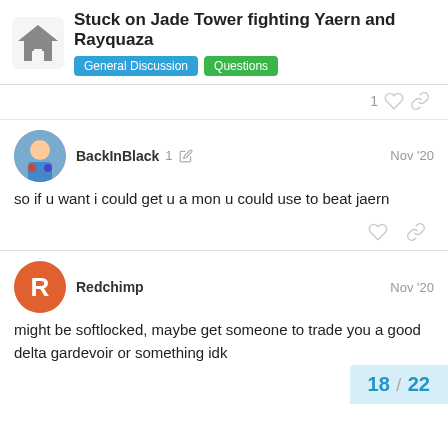Stuck on Jade Tower fighting Yaern and Rayquaza — General Discussion, Questions
so if u want i could get u a mon u could use to beat jaern
might be softlocked, maybe get someone to trade you a good delta gardevoir or something idk